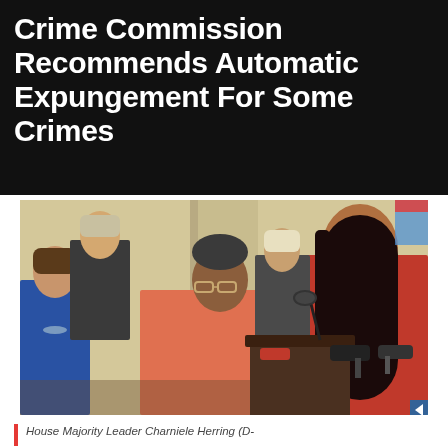Crime Commission Recommends Automatic Expungement For Some Crimes
[Figure (photo): Photo of people standing at a podium with microphones. A woman in a red top stands prominently, alongside an older woman in a salmon/coral jacket, a woman in blue, and other people in the background at what appears to be a legislative or press event.]
House Majority Leader Charniele Herring (D-